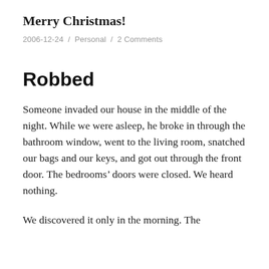Merry Christmas!
2006-12-24 / Personal / 2 Comments
Robbed
Someone invaded our house in the middle of the night. While we were asleep, he broke in through the bathroom window, went to the living room, snatched our bags and our keys, and got out through the front door. The bedrooms’ doors were closed. We heard nothing.
We discovered it only in the morning. The